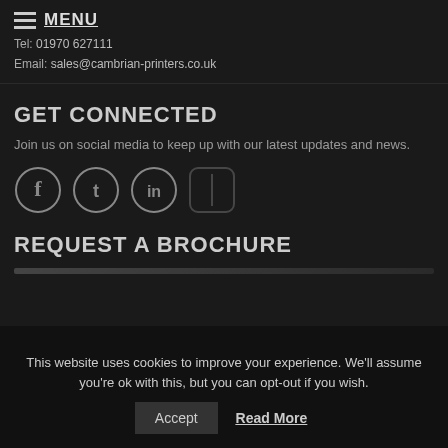MENU
Tel: 01970 627111
Email: sales@cambrian-printers.co.uk
GET CONNECTED
Join us on social media to keep up with our latest updates and news.
[Figure (illustration): Social media icons: Facebook (f), Twitter (bird), LinkedIn (in), and a fourth partially visible icon]
REQUEST A BROCHURE
This website uses cookies to improve your experience. We'll assume you're ok with this, but you can opt-out if you wish.
Accept   Read More